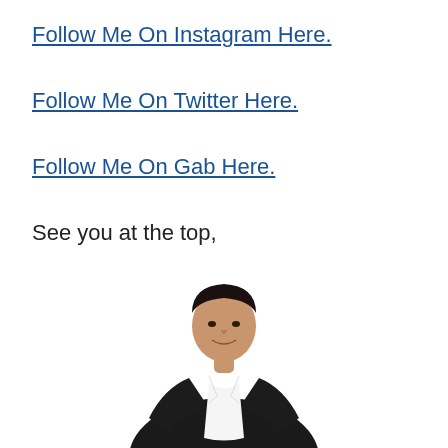Follow Me On Instagram Here.
Follow Me On Twitter Here.
Follow Me On Gab Here.
See you at the top,
[Figure (photo): A smiling man wearing a dark suit jacket and white collared shirt, photographed from the waist up against a white background.]